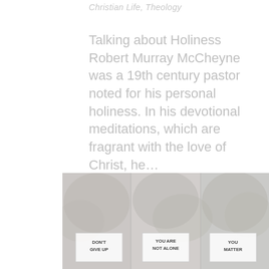Christian Life, Theology
Talking about Holiness Robert Murray McCheyne was a 19th century pastor noted for his personal holiness. In his devotional meditations, which are fragrant with the love of Christ, he…
read more
[Figure (photo): Crowd of people holding signs reading 'DON'T GIVE UP', 'YOU ARE NOT ALONE', and 'YOU MATTER']